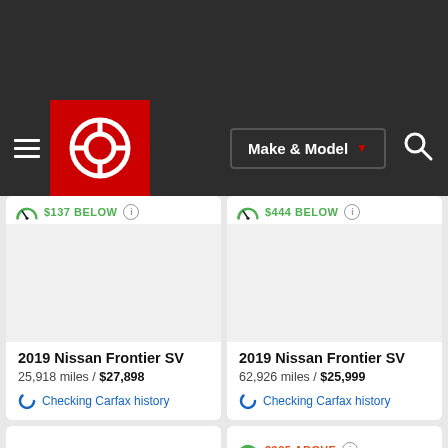Make & Model
$137 BELOW - 2019 Nissan Frontier SV, 25,918 miles / $27,898, Checking Carfax history
$444 BELOW - 2019 Nissan Frontier SV, 62,926 miles / $25,999, Checking Carfax history
$925 ABOVE